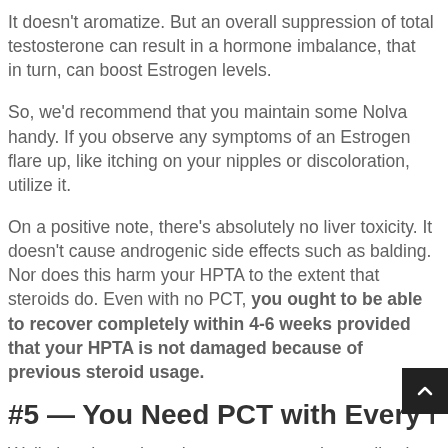It doesn't aromatize. But an overall suppression of total testosterone can result in a hormone imbalance, that in turn, can boost Estrogen levels.
So, we'd recommend that you maintain some Nolva handy. If you observe any symptoms of an Estrogen flare up, like itching on your nipples or discoloration, utilize it.
On a positive note, there's absolutely no liver toxicity. It doesn't cause androgenic side effects such as balding. Nor does this harm your HPTA to the extent that steroids do. Even with no PCT, you ought to be able to recover completely within 4-6 weeks provided that your HPTA is not damaged because of previous steroid usage.
#5 — You Need PCT with Every LGD-4033 Cy
Well, that depends on how you react to the medication.